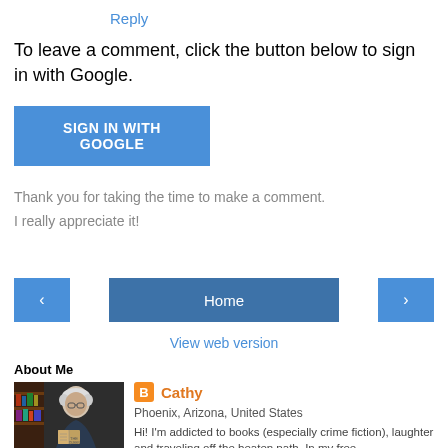Reply
To leave a comment, click the button below to sign in with Google.
SIGN IN WITH GOOGLE
Thank you for taking the time to make a comment.
I really appreciate it!
‹
Home
›
View web version
About Me
[Figure (photo): Profile photo of Cathy, an older woman with white hair reading a book]
Cathy
Phoenix, Arizona, United States
Hi! I'm addicted to books (especially crime fiction), laughter and traveling off the beaten path. In my free